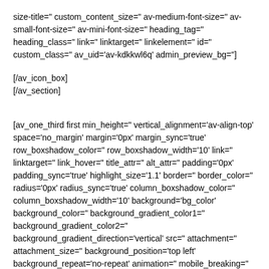size-title=" custom_content_size=" av-medium-font-size=" av-small-font-size=" av-mini-font-size=" heading_tag=" heading_class=" link=" linktarget=" linkelement=" id=" custom_class=" av_uid='av-kdkkwl6q' admin_preview_bg="]
[/av_icon_box]
[/av_section]
[av_one_third first min_height=" vertical_alignment='av-align-top' space='no_margin' margin='0px' margin_sync='true' row_boxshadow_color=" row_boxshadow_width='10' link=" linktarget=" link_hover=" title_attr=" alt_attr=" padding='0px' padding_sync='true' highlight_size='1.1' border=" border_color=" radius='0px' radius_sync='true' column_boxshadow_color=" column_boxshadow_width='10' background='bg_color' background_color=" background_gradient_color1=" background_gradient_color2=" background_gradient_direction='vertical' src=" attachment=" attachment_size=" background_position='top left' background_repeat='no-repeat' animation=" mobile_breaking=" mobile_display=" av_uid='av-1hncch0' custom_class="]
[av_iconlist position='left' iconlist_styling=" custom_title_size='16' av-medium-font-size-title=" av-small-font-size-title=" av-mini-font-size-title=" custom_content_size='14' av-medium-font-size=" av-